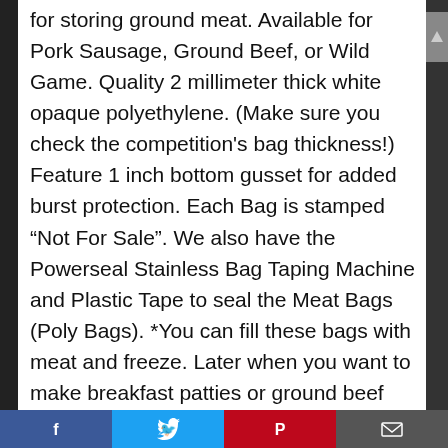for storing ground meat. Available for Pork Sausage, Ground Beef, or Wild Game. Quality 2 millimeter thick white opaque polyethylene. (Make sure you check the competition's bag thickness!) Feature 1 inch bottom gusset for added burst protection. Each Bag is stamped “Not For Sale”. We also have the Powerseal Stainless Bag Taping Machine and Plastic Tape to seal the Meat Bags (Poly Bags). *You can fill these bags with meat and freeze. Later when you want to make breakfast patties or ground beef patties, simply semi-thaw and while still partially frozen slice thru the bag creating a perfect round patty the thickness you desire.
Facebook | Twitter | Pinterest | Email